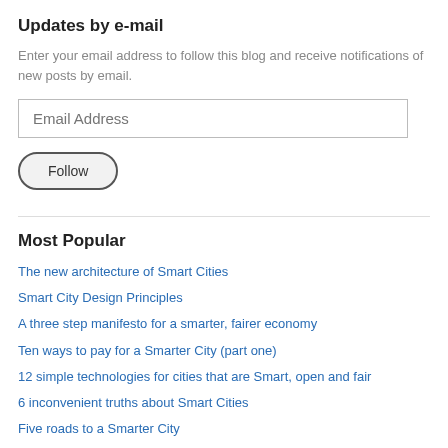Updates by e-mail
Enter your email address to follow this blog and receive notifications of new posts by email.
Email Address
Follow
Most Popular
The new architecture of Smart Cities
Smart City Design Principles
A three step manifesto for a smarter, fairer economy
Ten ways to pay for a Smarter City (part one)
12 simple technologies for cities that are Smart, open and fair
6 inconvenient truths about Smart Cities
Five roads to a Smarter City